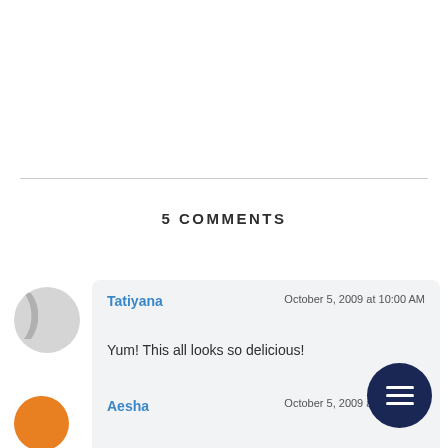5 COMMENTS
Tatiyana
October 5, 2009 at 10:00 AM
Yum! This all looks so delicious!
Reply
Aesha
October 5, 2009 at 10:33 AM
Oooh, you're such a tease... that chicken looks delicious. As